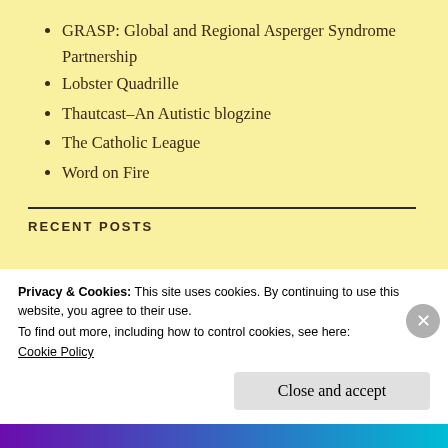GRASP: Global and Regional Asperger Syndrome Partnership
Lobster Quadrille
Thautcast–An Autistic blogzine
The Catholic League
Word on Fire
RECENT POSTS
Privacy & Cookies: This site uses cookies. By continuing to use this website, you agree to their use.
To find out more, including how to control cookies, see here:
Cookie Policy